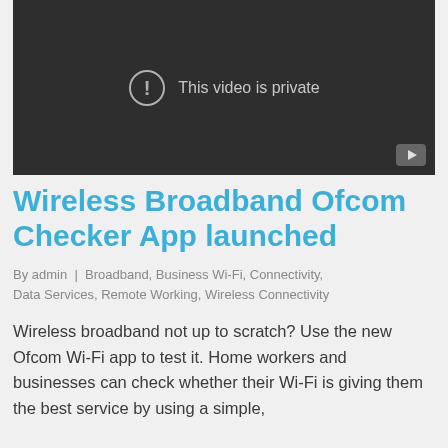[Figure (screenshot): Embedded video player showing a dark/black background with a circle-exclamation icon and the text 'This video is private', with a YouTube play button in the bottom-right corner.]
Wireless Broadband Ofcom Checker App launched
By admin | Broadband, Business Wi-Fi, Connectivity, Data Services, Remote Working, Wireless Connectivity
Wireless broadband not up to scratch? Use the new Ofcom Wi-Fi app to test it. Home workers and businesses can check whether their Wi-Fi is giving them the best service by using a simple,